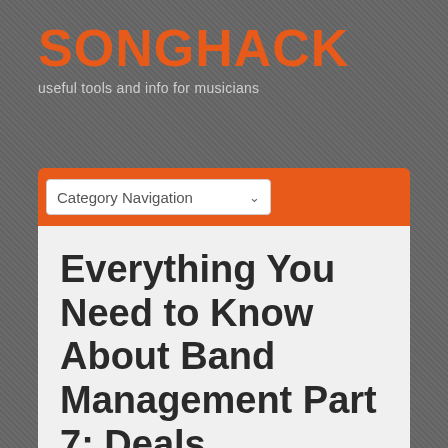SONGHACK
useful tools and info for musicians
Category Navigation
Everything You Need to Know About Band Management Part 7: Deals
[Figure (photo): Partial photo of musical instruments (appears to show a guitar or similar instrument) at the bottom of the page, mostly cropped.]